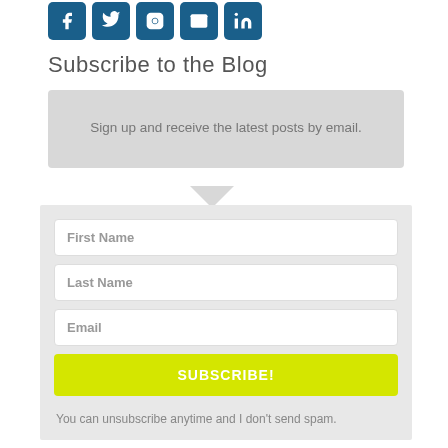[Figure (illustration): Row of social media icon buttons (Facebook, Twitter, Instagram, email/envelope, LinkedIn) in dark blue rounded square buttons]
Subscribe to the Blog
Sign up and receive the latest posts by email.
First Name
Last Name
Email
SUBSCRIBE!
You can unsubscribe anytime and I don't send spam.